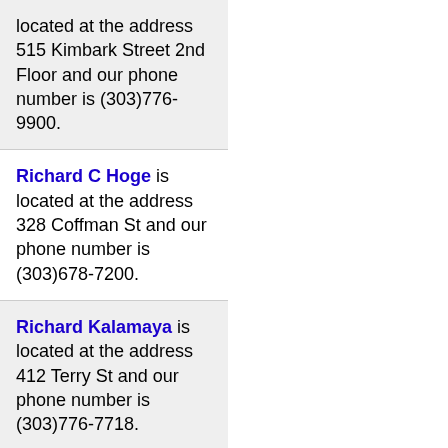located at the address 515 Kimbark Street 2nd Floor and our phone number is (303)776-9900.
Richard C Hoge is located at the address 328 Coffman St and our phone number is (303)678-7200.
Richard Kalamaya is located at the address 412 Terry St and our phone number is (303)776-7718.
Rick Martin Patent Law Offices is located at the address 416 Coffman St and our phone number is (303)651-2177.
Robert R Kayne is located at the address 1707 Main St # 300 and our phone number is (303)776-9956.